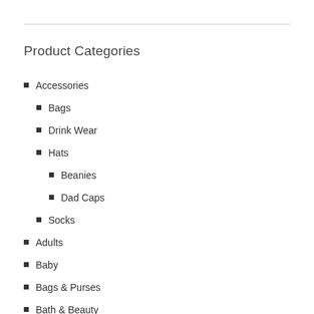Product Categories
Accessories
Bags
Drink Wear
Hats
Beanies
Dad Caps
Socks
Adults
Baby
Bags & Purses
Bath & Beauty